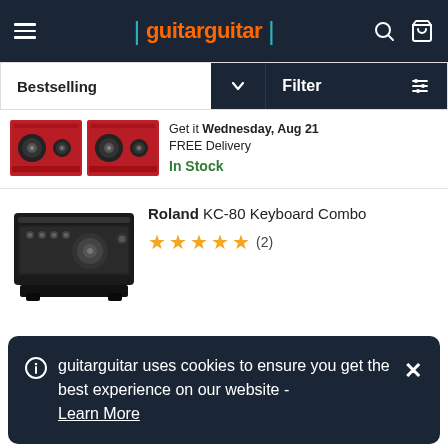guitarguitar
Bestselling
Filter
Get it Wednesday, Aug 21
FREE Delivery
In Stock
[Figure (photo): Two red speaker/monitor units side by side]
Roland KC-80 Keyboard Combo
[Figure (photo): Black Roland KC-80 keyboard combo amplifier]
★★★★★ (2)
guitarguitar uses cookies to ensure you get the best experience on our website - Learn More